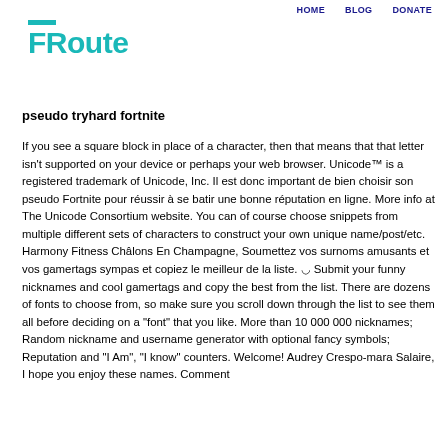HOME   BLOG   DONATE
[Figure (logo): FRoute logo in teal/cyan color with a small horizontal bar above the F]
pseudo tryhard fortnite
If you see a square block in place of a character, then that means that that letter isn't supported on your device or perhaps your web browser. Unicode™ is a registered trademark of Unicode, Inc. Il est donc important de bien choisir son pseudo Fortnite pour réussir à se batir une bonne réputation en ligne. More info at The Unicode Consortium website. You can of course choose snippets from multiple different sets of characters to construct your own unique name/post/etc. Harmony Fitness Châlons En Champagne, Soumettez vos surnoms amusants et vos gamertags sympas et copiez le meilleur de la liste. ◡ Submit your funny nicknames and cool gamertags and copy the best from the list. There are dozens of fonts to choose from, so make sure you scroll down through the list to see them all before deciding on a "font" that you like. More than 10 000 000 nicknames; Random nickname and username generator with optional fancy symbols; Reputation and "I Am", "I know" counters. Welcome! Audrey Crespo-mara Salaire, I hope you enjoy these names. Comment